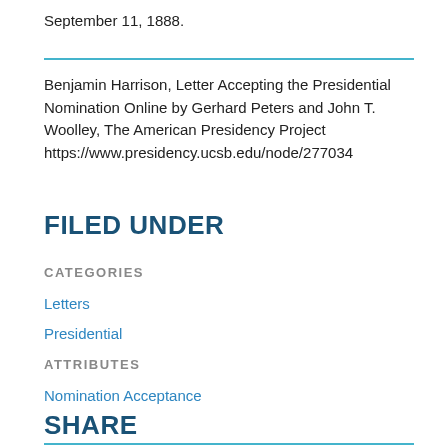September 11, 1888.
Benjamin Harrison, Letter Accepting the Presidential Nomination Online by Gerhard Peters and John T. Woolley, The American Presidency Project https://www.presidency.ucsb.edu/node/277034
FILED UNDER
CATEGORIES
Letters
Presidential
ATTRIBUTES
Nomination Acceptance
SHARE